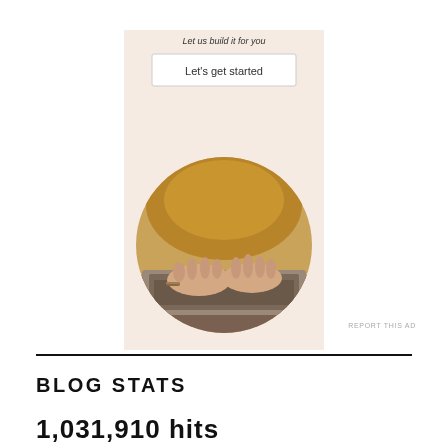[Figure (photo): Advertisement panel with cream/beige background showing a 'Let's get started' button and a circular photo of a person typing on a laptop wearing a mustard-colored sweater]
REPORT THIS AD
BLOG STATS
hits